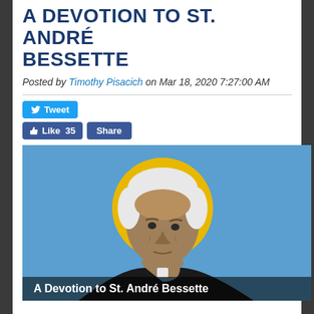A DEVOTION TO ST. ANDRÉ BESSETTE
Posted by Timothy Pisacich on Mar 18, 2020 7:27:00 AM
[Figure (illustration): Digital illustration of St. André Bessette, an elderly man with white hair wearing black clerical clothes, depicted with a golden halo against a light blue background. Text at the bottom reads 'A Devotion to St. André Bessette'.]